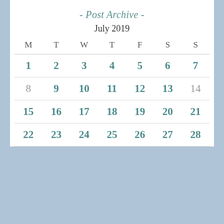- Post Archive -
July 2019
| M | T | W | T | F | S | S |
| --- | --- | --- | --- | --- | --- | --- |
| 1 | 2 | 3 | 4 | 5 | 6 | 7 |
| 8 | 9 | 10 | 11 | 12 | 13 | 14 |
| 15 | 16 | 17 | 18 | 19 | 20 | 21 |
| 22 | 23 | 24 | 25 | 26 | 27 | 28 |
Privacy & Cookies: This site uses cookies. By continuing to use this website, you agree to their use.
To find out more, including how to control cookies, see here: Cookie Policy
Close and accept